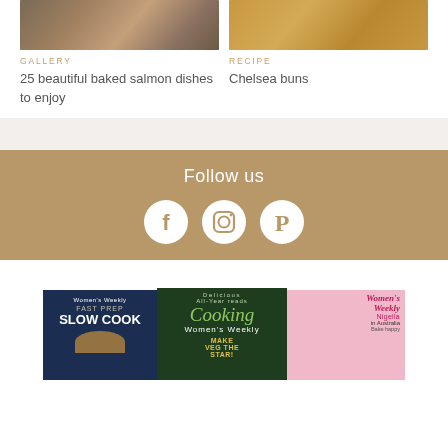[Figure (photo): Photo of baked salmon dishes]
GALLERY
25 beautiful baked salmon dishes to enjoy
[Figure (photo): Photo of Chelsea buns]
RECIPE
Chelsea buns
Follow us
[Figure (illustration): Social media icons: Facebook, Instagram, Pinterest]
[Figure (photo): Three magazine/book covers: Women's Weekly Fast Prep Slow Cook, Cooking Women's Weekly, Women's Weekly magazine with Nigella]